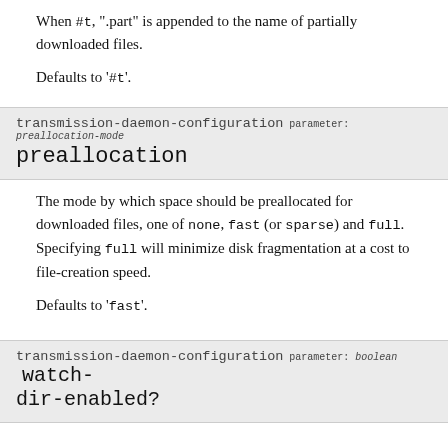When #t, ".part" is appended to the name of partially downloaded files.

Defaults to '#t'.
transmission-daemon-configuration parameter: preallocation-mode
preallocation
The mode by which space should be preallocated for downloaded files, one of none, fast (or sparse) and full. Specifying full will minimize disk fragmentation at a cost to file-creation speed.

Defaults to 'fast'.
transmission-daemon-configuration parameter: boolean   watch-dir-enabled?